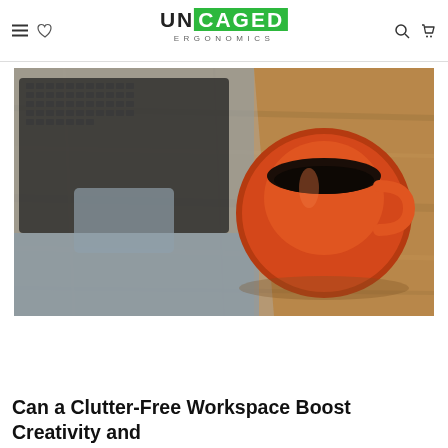UNCAGED ERGONOMICS
[Figure (photo): Top-down view of a laptop and an orange coffee cup on a wooden desk surface]
Can a Clutter-Free Workspace Boost Creativity and